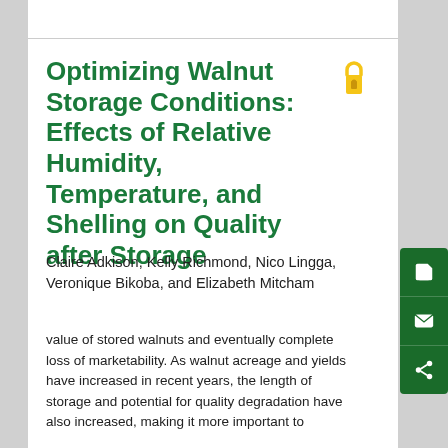Optimizing Walnut Storage Conditions: Effects of Relative Humidity, Temperature, and Shelling on Quality after Storage
Claire Adkison, Kelly Richmond, Nico Lingga, Veronique Bikoba, and Elizabeth Mitcham
value of stored walnuts and eventually complete loss of marketability. As walnut acreage and yields have increased in recent years, the length of storage and potential for quality degradation have also increased, making it more important to